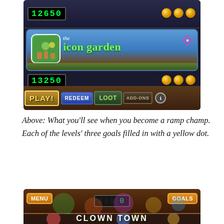[Figure (screenshot): Mobile game screenshot showing level select screen with score 12650, three gold coins, 'the icon garden' app listing with score 13250 and three gold coins, and navigation buttons (PLAY!, REDEEM, LOOT, ADD-ONS) at bottom]
Above: What you’ll see when you become a ramp champ. Each of the levels’ three goals filled in with a yellow dot.
[Figure (screenshot): Mobile game screenshot showing 'CLOWN TOWN' level header with MENU button, digital score display showing 0, and GOALS button]